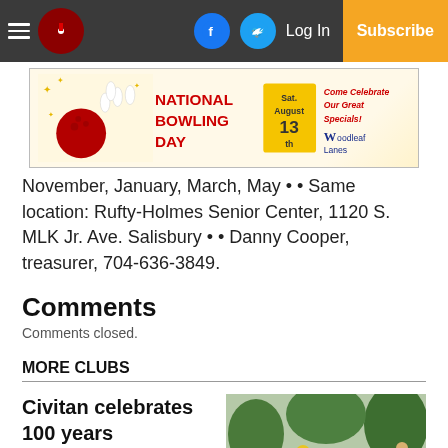Nav bar with menu, logo, Facebook, Twitter, Log In, Subscribe
[Figure (infographic): National Bowling Day advertisement banner - Sat. August 13th - Come Celebrate Our Great Specials! Woodleaf Lanes]
November, January, March, May • • Same location: Rufty-Holmes Senior Center, 1120 S. MLK Jr. Ave. Salisbury • • Danny Cooper, treasurer, 704-636-3849.
Comments
Comments closed.
MORE CLUBS
Civitan celebrates 100 years
[Figure (photo): Outdoor group photo of people gathered under trees at Civitan 100 years celebration event]
[Figure (infographic): National Bowling Day advertisement banner - Sat. August 13th - Come Celebrate Our Great Specials! Woodleaf Lanes]